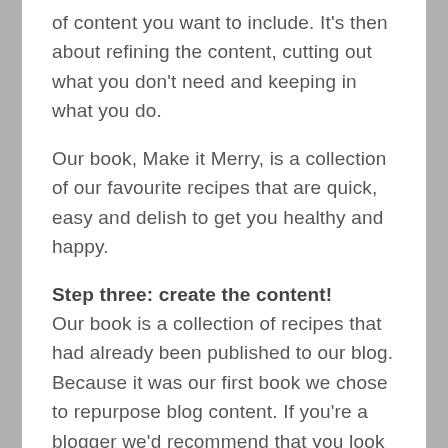of content you want to include. It's then about refining the content, cutting out what you don't need and keeping in what you do.
Our book, Make it Merry, is a collection of our favourite recipes that are quick, easy and delish to get you healthy and happy.
Step three: create the content!
Our book is a collection of recipes that had already been published to our blog. Because it was our first book we chose to repurpose blog content. If you're a blogger we'd recommend that you look at past blog content to see if